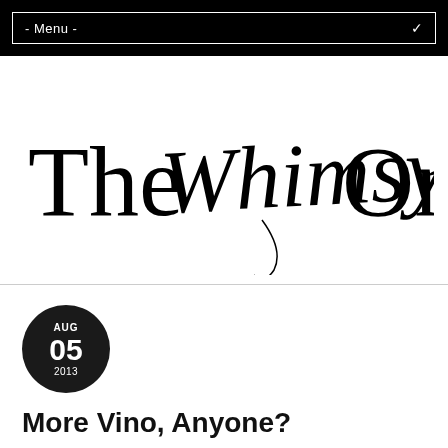- Menu -
[Figure (logo): The Whimsy One blog logo in elegant mixed serif and script lettering]
AUG 05 2013
More Vino, Anyone?